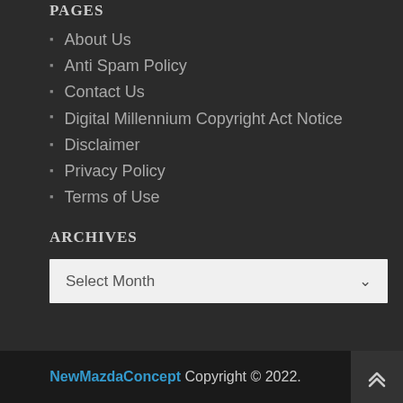PAGES
About Us
Anti Spam Policy
Contact Us
Digital Millennium Copyright Act Notice
Disclaimer
Privacy Policy
Terms of Use
ARCHIVES
Select Month
NewMazdaConcept Copyright © 2022.